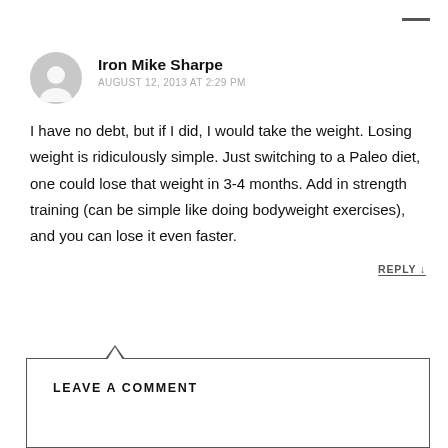Iron Mike Sharpe
AUGUST 12, 2013 AT 2:29 PM
I have no debt, but if I did, I would take the weight. Losing weight is ridiculously simple. Just switching to a Paleo diet, one could lose that weight in 3-4 months. Add in strength training (can be simple like doing bodyweight exercises), and you can lose it even faster.
REPLY ↓
LEAVE A COMMENT